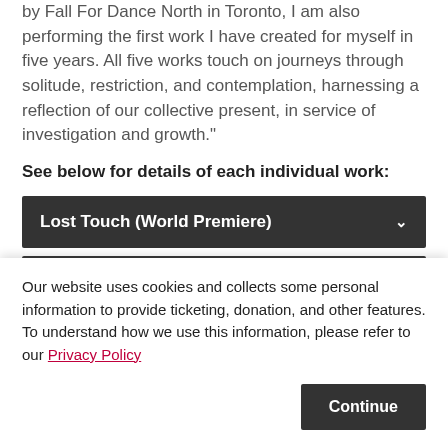by Fall For Dance North in Toronto, I am also performing the first work I have created for myself in five years. All five works touch on journeys through solitude, restriction, and contemplation, harnessing a reflection of our collective present, in service of investigation and growth."
See below for details of each individual work:
Lost Touch (World Premiere)
Ablaze Amongst the Fragments of Your Sky
Our website uses cookies and collects some personal information to provide ticketing, donation, and other features. To understand how we use this information, please refer to our Privacy Policy